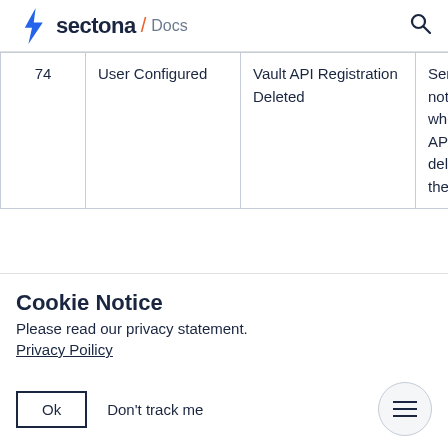sectona / Docs
|  |  |  |  |
| --- | --- | --- | --- |
| 74 | User Configured | Vault API Registration Deleted | Sends notification when the vault API registration deleted from the system |
Cookie Notice
Please read our privacy statement.
Privacy Poilicy
Ok   Don't track me